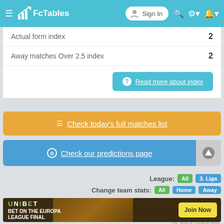FcTables — Sign In
Actual form index   2
Away matches Over 2.5 index   2
❓ Read more about index
☰ Check today's full matches list
⊙ Check our predictions page
League: All   3. Liga
Change team stats: All   Home   Away
[Figure (screenshot): Unibet advertisement banner — BET ON THE EUROPA LEAGUE FINAL, Join Now button, 18+ Terms & Conditions apply.]